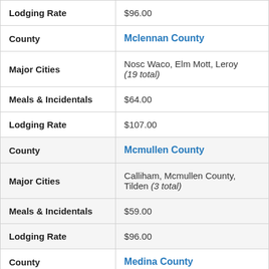| Field | Value |
| --- | --- |
| Lodging Rate | $96.00 |
| County | Mclennan County |
| Major Cities | Nosc Waco, Elm Mott, Leroy (19 total) |
| Meals & Incidentals | $64.00 |
| Lodging Rate | $107.00 |
| County | Mcmullen County |
| Major Cities | Calliham, Mcmullen County, Tilden (3 total) |
| Meals & Incidentals | $59.00 |
| Lodging Rate | $96.00 |
| County | Medina County |